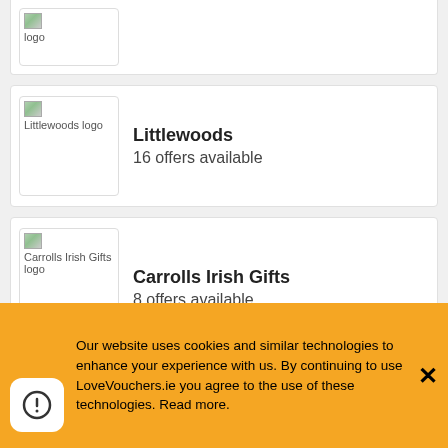[Figure (logo): Partial logo box at top (cut off), shows broken image placeholder and text 'logo']
Littlewoods
16 offers available
Carrolls Irish Gifts
8 offers available
NEXT
14 offers available
Our website uses cookies and similar technologies to enhance your experience with us. By continuing to use LoveVouchers.ie you agree to the use of these technologies. Read more.